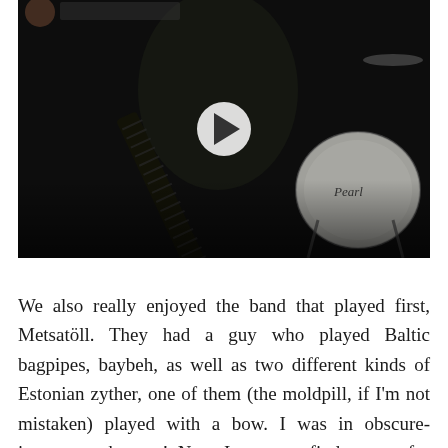[Figure (screenshot): A video thumbnail showing a shirtless guitarist on stage with a drum kit (Pearl brand) visible in the background. A white circular play button is centered on the image. The scene is dark/concert lighting.]
We also really enjoyed the band that played first, Metsatöll. They had a guy who played Baltic bagpipes, baybeh, as well as two different kinds of Estonian zyther, one of them (the moldpill, if I'm not mistaken) played with a bow. I was in obscure-instrument heaven! Now I want to find a way for someone to play a moldpill